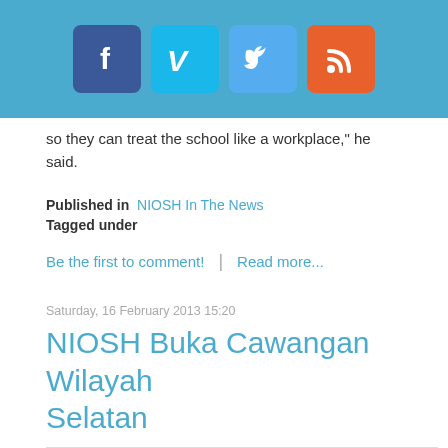[Figure (other): Social media icons header bar with Facebook, Vimeo, Twitter, and RSS icons on a light blue background]
so they can treat the school like a workplace," he said.
Published in  NIOSH In The News
Tagged under
Be the first to comment!  |  Read more...
Saturday, 16 February 2013 15:20
NIOSH Buka Cawangan Wilayah Selatan
[Figure (photo): Newspaper clipping showing headline 'NIOSH buka cawangan wilayah selatan' with article body text and a photo on the right side. Handwritten annotation 'Bil M/S 324 18/2/13' visible.]